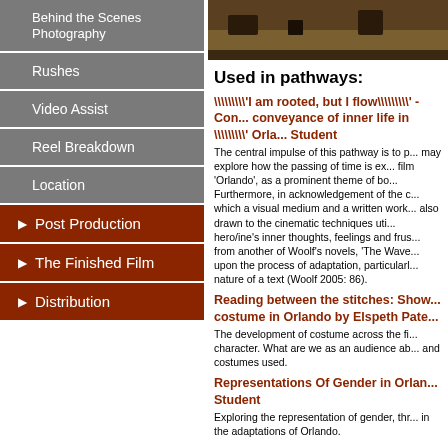Behind the Scenes Photography
Rushes
Video Assist
Reel Breakdown
Location
Post Production
The Finished Film
Distribution
[Figure (photo): Behind the scenes outdoor photography, showing ground/grass area]
Used in pathways:
\'I am rooted, but I flow\' -Conveyance of inner life in \'Orlando\' Student
The central impulse of this pathway is to p... may explore how the passing of time is ex... film 'Orlando', as a prominent theme of bo... Furthermore, in acknowledgement of the c... which a visual medium and a written work... also drawn to the cinematic techniques uti... hero/ine's inner thoughts, feelings and frus... from another of Woolf's novels, 'The Wave... upon the process of adaptation, particularl... nature of a text (Woolf 2005: 86).
Reading between the stitches: Sho... costume in Orlando by Elspeth Pate...
The development of costume across the fi... character. What are we as an audience ab... and costumes used.
Representations Of Gender in Orlan... Student
Exploring the representation of gender, thr... in the adaptations of Orlando.